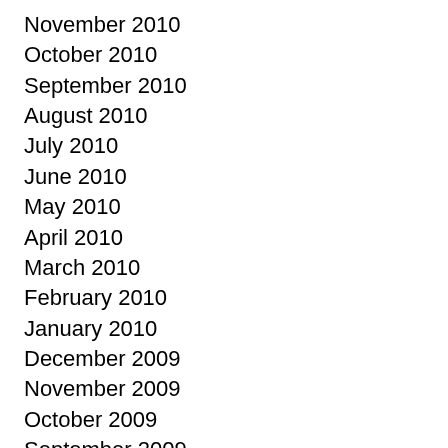November 2010
October 2010
September 2010
August 2010
July 2010
June 2010
May 2010
April 2010
March 2010
February 2010
January 2010
December 2009
November 2009
October 2009
September 2009
August 2009
July 2009
June 2009